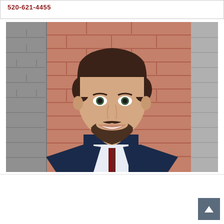520-621-4455
[Figure (photo): Headshot photo of Benjamin Ampel, a young man with dark brown hair and a beard, wearing a navy suit with a red and blue tie, smiling, photographed against a brick wall background.]
Benjamin Ampel
MIS Doctoral Student